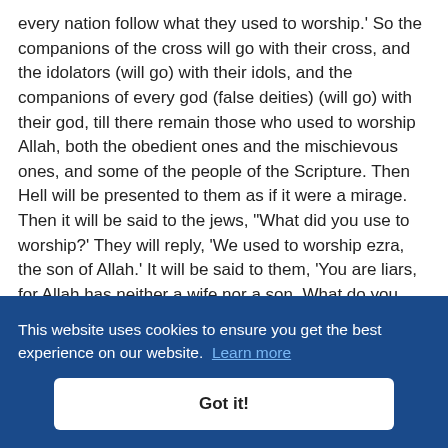every nation follow what they used to worship.' So the companions of the cross will go with their cross, and the idolators (will go) with their idols, and the companions of every god (false deities) (will go) with their god, till there remain those who used to worship Allah, both the obedient ones and the mischievous ones, and some of the people of the Scripture. Then Hell will be presented to them as if it were a mirage. Then it will be said to the jews, 'What did you use to worship?' They will reply, 'We used to worship ezra, the son of Allah.' It will be said to them, 'You are liars, for Allah has neither a wife nor a son. What do you want (now)?' They will reply, 'We want You to provide us with water.' Then it will be said to them 'Drink,' and they will fall down in Hell (instead). Then it will [continue...] p?' [...]n of [...]er a [...]ay, [...]to When there remain only those who used to worship Allah (Alone), both the obedient ones and the mischievous [...]
This website uses cookies to ensure you get the best experience on our website. Learn more
Got it!